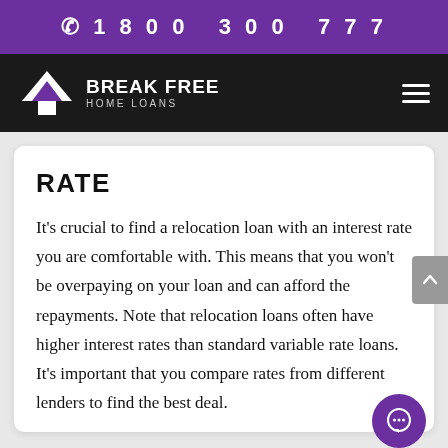1800 300 777
[Figure (logo): Break Free Home Loans logo with house/arrow icon on dark background, with hamburger menu icon]
RATE
It's crucial to find a relocation loan with an interest rate you are comfortable with. This means that you won't be overpaying on your loan and can afford the repayments. Note that relocation loans often have higher interest rates than standard variable rate loans. It's important that you compare rates from different lenders to find the best deal.